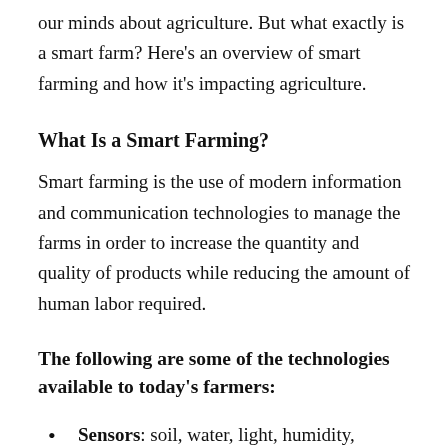our minds about agriculture. But what exactly is a smart farm? Here's an overview of smart farming and how it's impacting agriculture.
What Is a Smart Farming?
Smart farming is the use of modern information and communication technologies to manage the farms in order to increase the quantity and quality of products while reducing the amount of human labor required.
The following are some of the technologies available to today's farmers:
Sensors: soil, water, light, humidity, temperature management